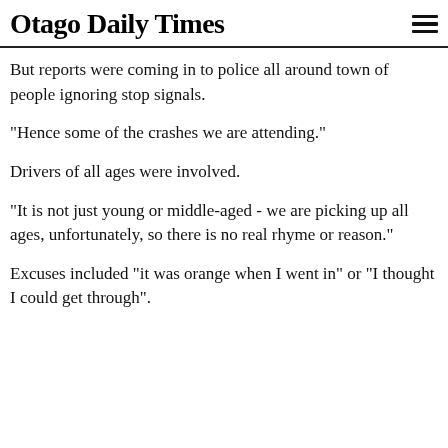Otago Daily Times
But reports were coming in to police all around town of people ignoring stop signals.
"Hence some of the crashes we are attending."
Drivers of all ages were involved.
"It is not just young or middle-aged - we are picking up all ages, unfortunately, so there is no real rhyme or reason."
Excuses included "it was orange when I went in" or "I thought I could get through".